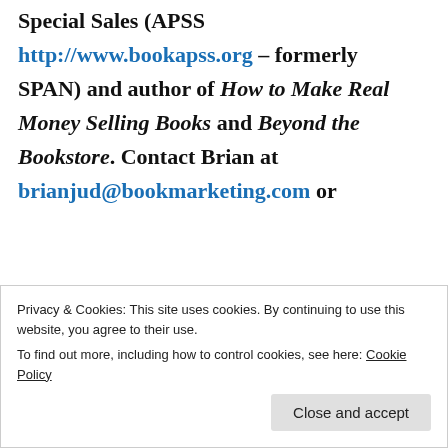Special Sales (APSS http://www.bookapss.org – formerly SPAN) and author of How to Make Real Money Selling Books and Beyond the Bookstore. Contact Brian at brianjud@bookmarketing.com or
Privacy & Cookies: This site uses cookies. By continuing to use this website, you agree to their use. To find out more, including how to control cookies, see here: Cookie Policy